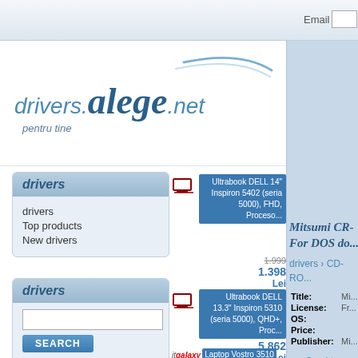Email
[Figure (logo): drivers.alege.net logo with italic text and arc decoration, subtitle: pentru tine]
drivers
drivers
Top products
New drivers
drivers
SEARCH button with search input
BIOS & System Updates
CD-ROM
CD/DVD Drives
Digital Camera & Webcam
Firmware
Input Devices
[Figure (screenshot): PC product listing: Ultrabook DELL 14 Inspiron 5402 (seria 5000), FHD, Proceso... with price 1.398 Lei (old price 1.999)]
[Figure (screenshot): PC product listing: Ultrabook DELL 13.3 Inspiron 5310 (seria 5000), QHD+, Proc... with price 5.862 Lei]
[Figure (screenshot): itgalaxy: Laptop Vostro 3510]
Mitsumi CR- For DOS do...
drivers > CD-RO...
| Field | Value |
| --- | --- |
| Title: | Mi... |
| License: | Fr... |
| OS: |  |
| Price: |  |
| Publisher: | Mi... |
Send to frien... | Send to frien...